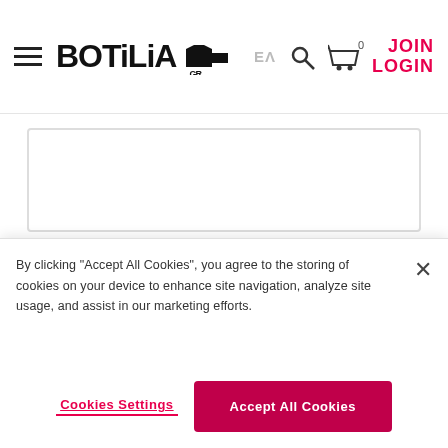BOTiLiA.GR — ΕΛ — Search — Cart 0 — JOIN LOGIN
[Figure (screenshot): White card box with bottom chevron/expand icon and horizontal lines]
People also bought
By clicking “Accept All Cookies”, you agree to the storing of cookies on your device to enhance site navigation, analyze site usage, and assist in our marketing efforts.
Cookies Settings   Accept All Cookies